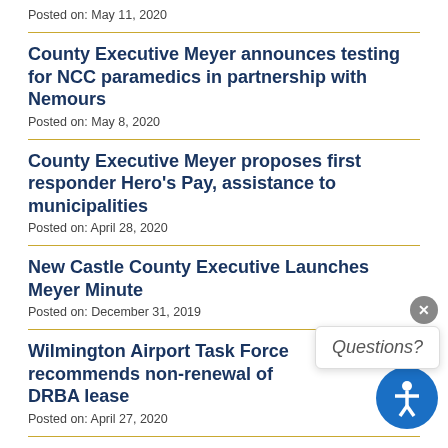Posted on: May 11, 2020
County Executive Meyer announces testing for NCC paramedics in partnership with Nemours
Posted on: May 8, 2020
County Executive Meyer proposes first responder Hero's Pay, assistance to municipalities
Posted on: April 28, 2020
New Castle County Executive Launches Meyer Minute
Posted on: December 31, 2019
Wilmington Airport Task Force recommends non-renewal of DRBA lease
Posted on: April 27, 2020
County Executive Meyer appointed to